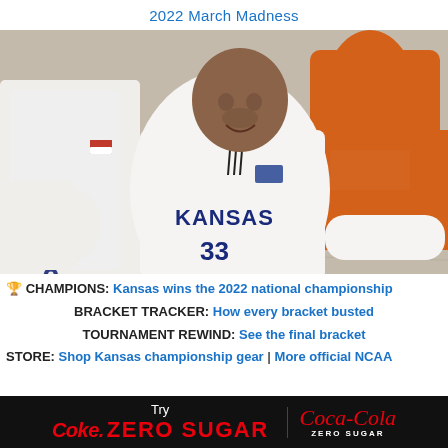2022 March Madness
[Figure (photo): Kansas Jayhawks basketball player wearing jersey number 33 with 'KANSAS' text, during the 2022 March Madness NCAA championship game. Player in white Kansas uniform in foreground, opponent in orange jersey in background, basketball court visible.]
🏆 CHAMPIONS: Kansas wins the 2022 national championship
BRACKET TRACKER: How every bracket busted
TOURNAMENT REWIND: See the final bracket
STORE: Shop Kansas championship gear | More official NCAA
[Figure (logo): Coca-Cola Zero Sugar advertisement banner. Black background with red text: Try Coke. ZERO SUGAR and Coca-Cola Zero Sugar logo on the right.]